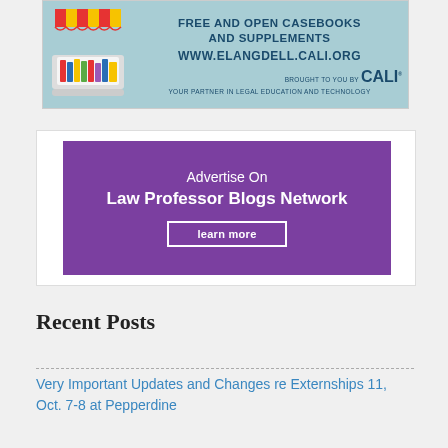[Figure (illustration): CALI eLangdell banner advertisement with bookstore/laptop illustration. Text: FREE AND OPEN CASEBOOKS AND SUPPLEMENTS, www.elangdell.cali.org, BROUGHT TO YOU BY CALI, YOUR PARTNER IN LEGAL EDUCATION AND TECHNOLOGY]
[Figure (illustration): Purple advertisement banner: Advertise On Law Professor Blogs Network, with a 'learn more' button]
Recent Posts
Very Important Updates and Changes re Externships 11, Oct. 7-8 at Pepperdine